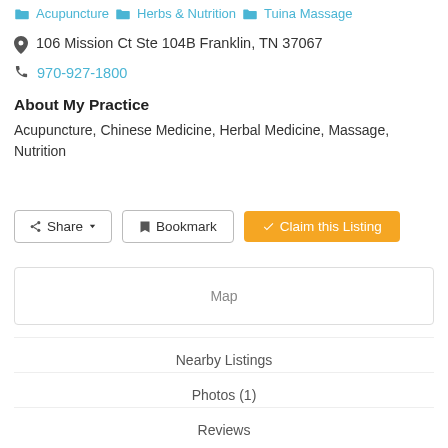Acupuncture  Herbs & Nutrition  Tuina Massage
106 Mission Ct Ste 104B Franklin, TN 37067
970-927-1800
About My Practice
Acupuncture, Chinese Medicine, Herbal Medicine, Massage, Nutrition
Share  Bookmark  Claim this Listing
Map
Nearby Listings
Photos (1)
Reviews